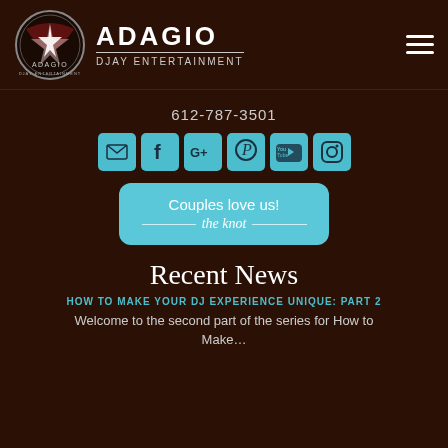ADAGIO DJAY ENTERTAINMENT
612-787-3501
[Figure (infographic): Social media icons row: Email, Facebook, Google+, Pinterest, YouTube, Instagram - all in teal/light blue squares]
[Figure (infographic): Teal rounded rectangle button: Couples love us! the knot]
Recent News
HOW TO MAKE YOUR DJ EXPERIENCE UNIQUE: PART 2
Welcome to the second part of the series for How to Make...